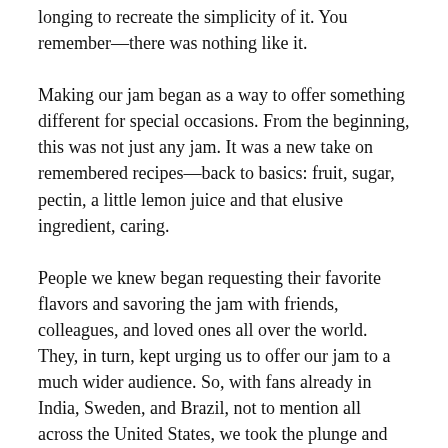longing to recreate the simplicity of it. You remember—there was nothing like it.
Making our jam began as a way to offer something different for special occasions. From the beginning, this was not just any jam. It was a new take on remembered recipes—back to basics: fruit, sugar, pectin, a little lemon juice and that elusive ingredient, caring.
People we knew began requesting their favorite flavors and savoring the jam with friends, colleagues, and loved ones all over the world. They, in turn, kept urging us to offer our jam to a much wider audience. So, with fans already in India, Sweden, and Brazil, not to mention all across the United States, we took the plunge and created S&V Jams—made in small batches and with exacting care.
Fans of S&V Jams have enjoyed the jam as a pie, tart, or